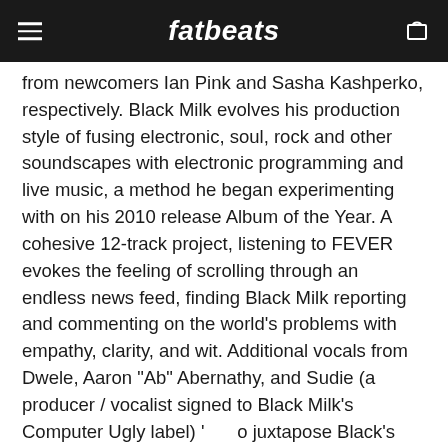fatbeats
from newcomers Ian Pink and Sasha Kashperko, respectively. Black Milk evolves his production style of fusing electronic, soul, rock and other soundscapes with electronic programming and live music, a method he began experimenting with on his 2010 release Album of the Year. A cohesive 12-track project, listening to FEVER evokes the feeling of scrolling through an endless news feed, finding Black Milk reporting and commenting on the world's problems with empathy, clarity, and wit. Additional vocals from Dwele, Aaron "Ab" Abernathy, and Sudie (a producer / vocalist signed to Black Milk's Computer Ugly label) ' o juxtapose Black's heavy lyrical content with es. FEVER releases via Mass Appeal Records and Computer Ugly.